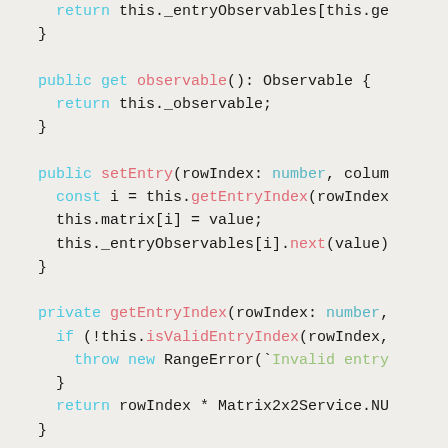Code snippet showing TypeScript class methods: get observable(), setEntry(), and private getEntryIndex() with syntax highlighting.